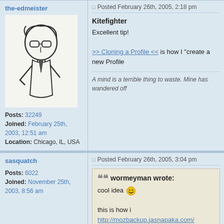the-edmeister
[Figure (photo): Avatar of user the-edmeister: cartoon drawing of a person with glasses]
Posts: 32249
Joined: February 25th, 2003, 12:51 am
Location: Chicago, IL, USA
Posted February 26th, 2005, 2:18 pm
Kitefighter
Excellent tip!
>> Cloning a Profile << is how I "create a new Profile
A mind is a terrible thing to waste. Mine has wandered off
sasquatch
Posts: 6022
Joined: November 25th, 2003, 8:56 am
Posted February 26th, 2005, 3:04 pm
wormeyman wrote:
cool idea
this is how i http://mozbackup.jasnapaka.com/
...
" i'm sorry but development of MozBackup was disco
asqueella
Posts: 4019
Posted February 26th, 2005, 4:26 pm
Kitefighter wrote: